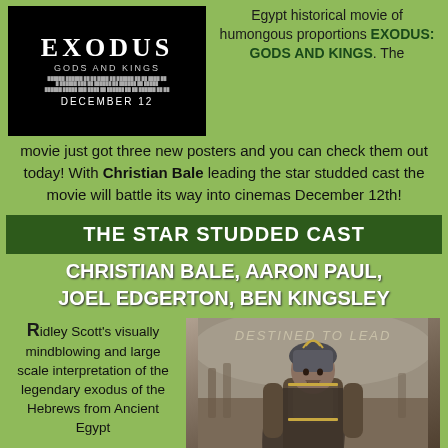[Figure (photo): Movie poster for Exodus: Gods and Kings, black background, white text, DECEMBER 12 date]
Egypt historical movie of humongous proportions EXODUS: GODS AND KINGS. The movie just got three new posters and you can check them out today! With Christian Bale leading the star studded cast the movie will battle its way into cinemas December 12th!
THE STAR STUDDED CAST
CHRISTIAN BALE, AARON PAUL, JOEL EDGERTON, BEN KINGSLEY
Ridley Scott's visually mindblowing and large scale interpretation of the legendary exodus of the Hebrews from Ancient Egypt
[Figure (photo): Movie promotional image showing warrior character with text DESTINED TO LEAD at top, from Exodus: Gods and Kings]